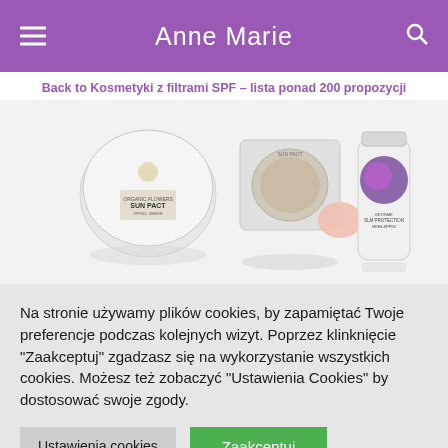Anne Marie
Back to Kosmetyki z filtrami SPF – lista ponad 200 propozycji
[Figure (photo): Cosmetic products with SPF filters: Organic Flowers Sun Pact powder compact and BeOnMe Sun Protection High SPF50 cream tube displayed on white background]
Na stronie używamy plików cookies, by zapamiętać Twoje preferencje podczas kolejnych wizyt. Poprzez klinknięcie "Zaakceptuj" zgadzasz się na wykorzystanie wszystkich cookies. Możesz też zobaczyć "Ustawienia Cookies" by dostosować swoje zgody.
Ustawienia cookies
Zaakceptuj